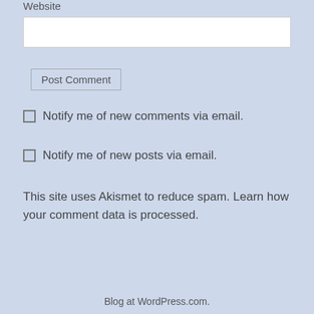Website
Post Comment
Notify me of new comments via email.
Notify me of new posts via email.
This site uses Akismet to reduce spam. Learn how your comment data is processed.
Blog at WordPress.com.